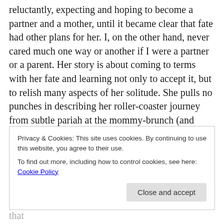reluctantly, expecting and hoping to become a partner and a mother, until it became clear that fate had other plans for her. I, on the other hand, never cared much one way or another if I were a partner or a parent. Her story is about coming to terms with her fate and learning not only to accept it, but to relish many aspects of her solitude. She pulls no punches in describing her roller-coaster journey from subtle pariah at the mommy-brunch (and recipient of the “frying-pan-for-one” present because it doesn’t look like she’ll “ever meet anyone”) to satisfied single whose solitude “endows an intimacy of one and a romance with
Privacy & Cookies: This site uses cookies. By continuing to use this website, you agree to their use.
To find out more, including how to control cookies, see here: Cookie Policy
Close and accept
sure day you’ll want to go along with him for her that